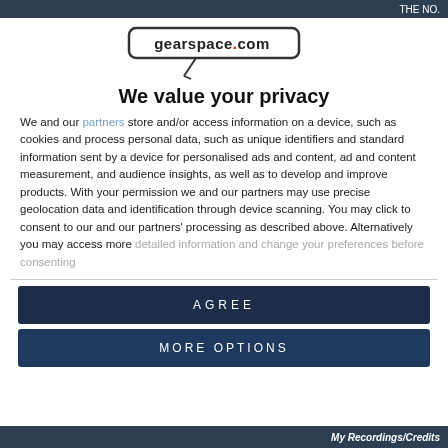THE NO.
[Figure (logo): gearspace.com logo with microphone cable illustration]
We value your privacy
We and our partners store and/or access information on a device, such as cookies and process personal data, such as unique identifiers and standard information sent by a device for personalised ads and content, ad and content measurement, and audience insights, as well as to develop and improve products. With your permission we and our partners may use precise geolocation data and identification through device scanning. You may click to consent to our and our partners' processing as described above. Alternatively you may access more detailed information and change your preferences before consenting
AGREE
MORE OPTIONS
My Recordings/Credits